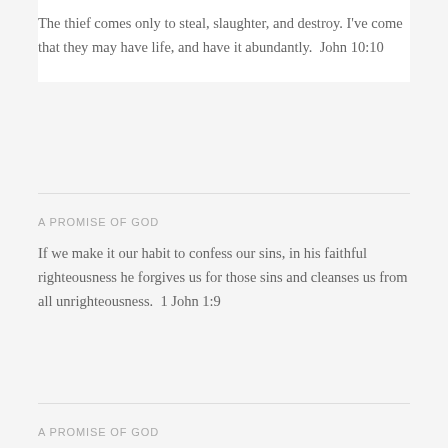The thief comes only to steal, slaughter, and destroy. I've come that they may have life, and have it abundantly.  John 10:10
A PROMISE OF GOD
If we make it our habit to confess our sins, in his faithful righteousness he forgives us for those sins and cleanses us from all unrighteousness.  1 John 1:9
A PROMISE OF GOD
“For the day of the Lord is great and very awesome; who can endure it? ‘Yet even now,’ declares the Lord, ‘return to me with all your heart, with fasting, with weeping, and with mourning; and rend your hearts and not your garments.’ Return to the Lord your God, for he is gracious and merciful, slow to anger, and abounding in steadfast love; and he relents over disaster.” Joel 2:11-12